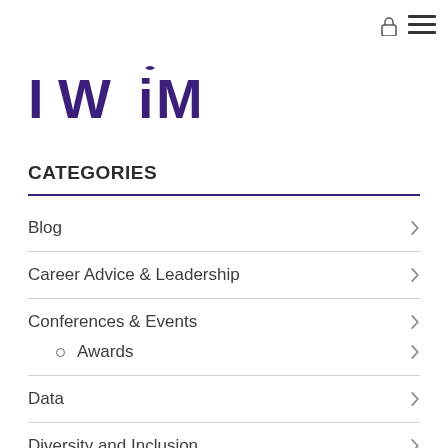[Figure (logo): IWiM logo in dark purple/indigo bold text]
CATEGORIES
Blog
Career Advice & Leadership
Conferences & Events
Awards
Data
Diversity and Inclusion
Engaging Men